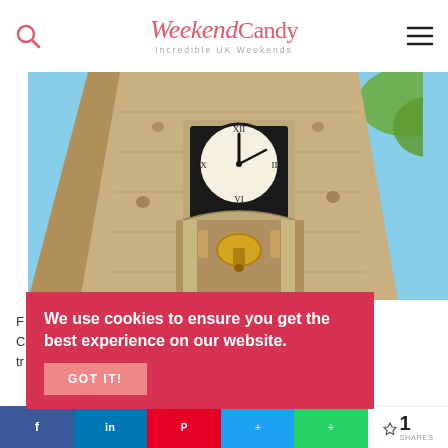WeekendCandy — Incredible UK Weekends
[Figure (photo): Looking up at a stone church clock tower with a large clock face and a bell visible in an ornate arched alcove below it, blue sky and green tree leaves in the background.]
...rket Street, Q...wer is tr...f the city
We use cookies to ensure you get the best experience on our website.
GOT IT!
< 1 SHARES